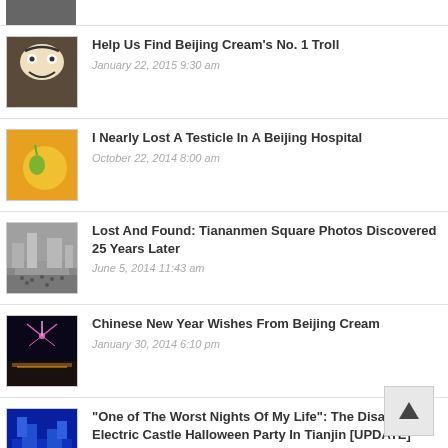[Figure (photo): Partial thumbnail at top, cropped view]
Help Us Find Beijing Cream's No. 1 Troll
January 22, 2015 9:30 am
I Nearly Lost A Testicle In A Beijing Hospital
October 22, 2014 8:00 am
Lost And Found: Tiananmen Square Photos Discovered 25 Years Later
June 5, 2014 11:43 am
Chinese New Year Wishes From Beijing Cream
January 30, 2014 6:10 pm
“One of The Worst Nights Of My Life”: The Disastrous Electric Castle Halloween Party In Tianjin [UPDATE]
November 5, 2013 2:16 am